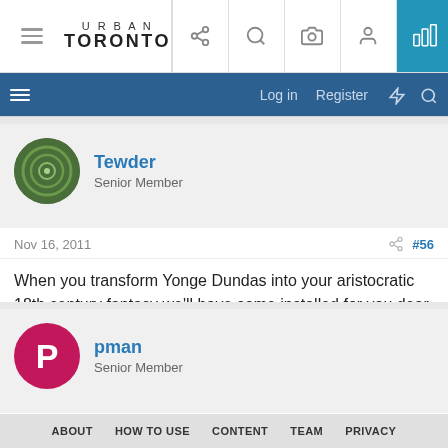[Figure (screenshot): Urban Toronto website navigation bar with logo and icons]
URBAN TORONTO — Log in  Register
Tewder
Senior Member
Nov 16, 2011  #56
When you transform Yonge Dundas into your aristocratic 18th century fantasy we'll have some installed for you dear.
pman
Senior Member
Nov 16, 2011  #57
ABOUT  HOW TO USE  CONTENT  TEAM  PRIVACY